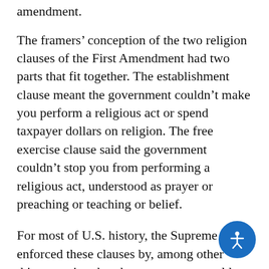amendment.
The framers' conception of the two religion clauses of the First Amendment had two parts that fit together. The establishment clause meant the government couldn't make you perform a religious act or spend taxpayer dollars on religion. The free exercise clause said the government couldn't stop you from performing a religious act, understood as prayer or preaching or teaching or belief.
For most of U.S. history, the Supreme Court enforced these clauses by, among other things, saying that the government could not fund the teaching of religion in religious schools. That principle was substantially undermined 20 years ago when the court held that states could fund religious education — including Catholic schools — indirectly via voucher programs